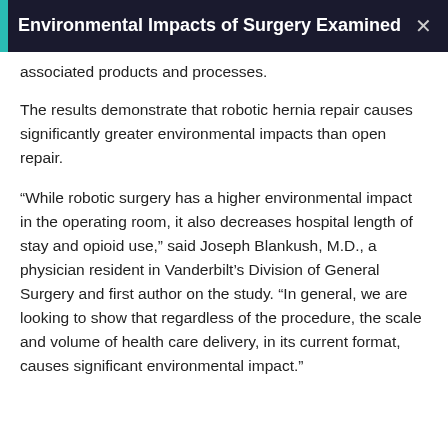Environmental Impacts of Surgery Examined
associated products and processes.
The results demonstrate that robotic hernia repair causes significantly greater environmental impacts than open repair.
“While robotic surgery has a higher environmental impact in the operating room, it also decreases hospital length of stay and opioid use,” said Joseph Blankush, M.D., a physician resident in Vanderbilt’s Division of General Surgery and first author on the study. “In general, we are looking to show that regardless of the procedure, the scale and volume of health care delivery, in its current format, causes significant environmental impact.”